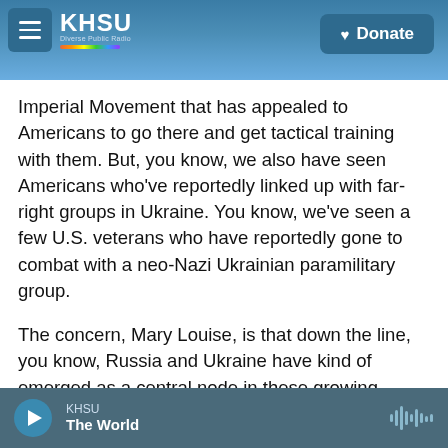[Figure (screenshot): KHSU public radio website header with hamburger menu, KHSU logo with rainbow stripe, coastal background photo, and Donate button]
Imperial Movement that has appealed to Americans to go there and get tactical training with them. But, you know, we also have seen Americans who've reportedly linked up with far-right groups in Ukraine. You know, we've seen a few U.S. veterans who have reportedly gone to combat with a neo-Nazi Ukrainian paramilitary group.
The concern, Mary Louise, is that down the line, you know, Russia and Ukraine have kind of emerged as a central node in these growing transnational connections between neo-Nazi and neo-fascist groups all over the world. And so as
KHSU  The World